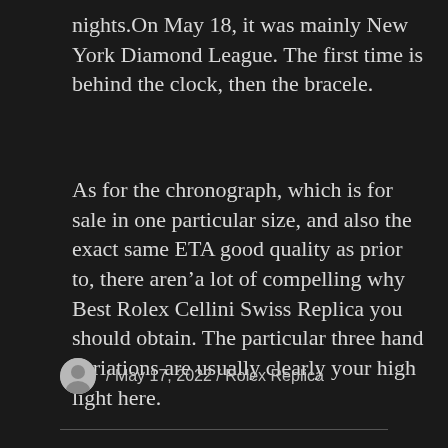nights.On May 18, it was mainly New York Diamond League. The first time is behind the clock, then the bracele.
As for the chronograph, which is for sale in one particular size, and also the exact same ETA good quality as prior to, there aren’a lot of compelling why Best Rolex Cellini Swiss Replica you should obtain. The particular three hand variations are usually clearly your high light here.
/ May 17, 2022 / Rolex Replica